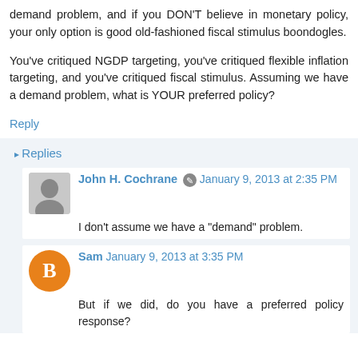demand problem, and if you DON'T believe in monetary policy, your only option is good old-fashioned fiscal stimulus boondogles.
You've critiqued NGDP targeting, you've critiqued flexible inflation targeting, and you've critiqued fiscal stimulus. Assuming we have a demand problem, what is YOUR preferred policy?
Reply
Replies
John H. Cochrane  January 9, 2013 at 2:35 PM
I don't assume we have a "demand" problem.
Sam  January 9, 2013 at 3:35 PM
But if we did, do you have a preferred policy response?